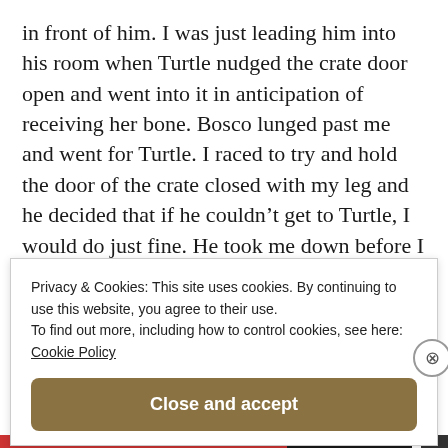in front of him. I was just leading him into his room when Turtle nudged the crate door open and went into it in anticipation of receiving her bone. Bosco lunged past me and went for Turtle. I raced to try and hold the door of the crate closed with my leg and he decided that if he couldn't get to Turtle, I would do just fine. He took me down before I could even realize what was happening, severing a finger on my left hand and totally shattering all the bones in my right arm from wrist to
Privacy & Cookies: This site uses cookies. By continuing to use this website, you agree to their use.
To find out more, including how to control cookies, see here: Cookie Policy
Close and accept